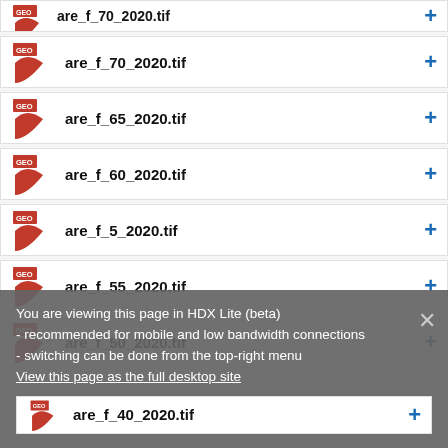are_f_70_2020.tif
are_f_65_2020.tif
are_f_60_2020.tif
are_f_5_2020.tif
are_f_55_2020.tif
are_f_50_2020.tif
You are viewing this page in HDX Lite (beta)
- recommended for mobile and low bandwidth connections
- switching can be done from the top-right menu
View this page as the full desktop site
are_f_40_2020.tif